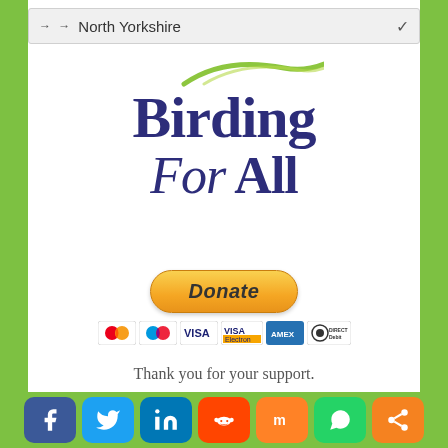[Figure (screenshot): Dropdown/breadcrumb bar showing '→ → North Yorkshire' with a chevron on the right]
[Figure (logo): Birding For All logo with green swoosh curves at top and dark blue serif text reading 'Birding For All']
[Figure (infographic): PayPal Donate button with payment method icons: MasterCard, Maestro, VISA, VISA (Electron), American Express, Direct Debit]
Thank you for your support.
BFA NEWS
Watch this space for BFA news...
[Figure (infographic): Social media share buttons: Facebook, Twitter, LinkedIn, Reddit, Mix, WhatsApp, Share]